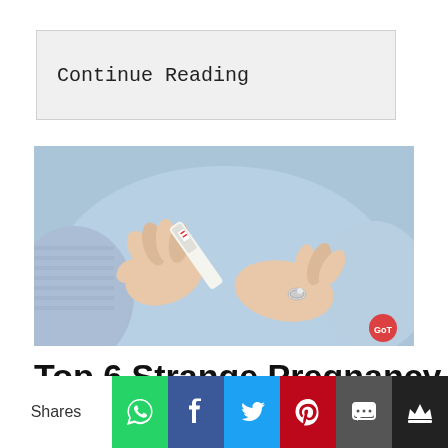Continue Reading
[Figure (photo): A person holding a pregnancy test, wearing a light blue shirt and a ring on their right hand, with hands resting on their stomach.]
Top 6 Strange Pregnancy
Shares
[Figure (infographic): Social share bar with icons for WhatsApp, Facebook, Twitter, Pinterest, SMS, and crown/bookmark service]